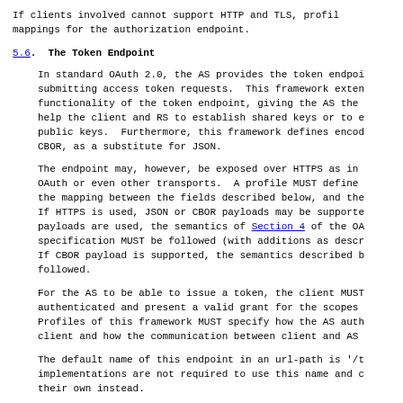If clients involved cannot support HTTP and TLS, profile mappings for the authorization endpoint.
5.6.  The Token Endpoint
In standard OAuth 2.0, the AS provides the token endpoint for submitting access token requests.  This framework extends the functionality of the token endpoint, giving the AS the ability to help the client and RS to establish shared keys or to exchange public keys.  Furthermore, this framework defines encodings in CBOR, as a substitute for JSON.
The endpoint may, however, be exposed over HTTPS as in standard OAuth or even other transports.  A profile MUST define the mapping between the fields described below, and the transport. If HTTPS is used, JSON or CBOR payloads may be supported. If JSON payloads are used, the semantics of Section 4 of the OAuth specification MUST be followed (with additions as described here). If CBOR payload is supported, the semantics described below MUST be followed.
For the AS to be able to issue a token, the client MUST be authenticated and present a valid grant for the scopes requested. Profiles of this framework MUST specify how the AS authenticates the client and how the communication between client and AS is secured.
The default name of this endpoint in an url-path is '/token', but implementations are not required to use this name and can define their own instead.